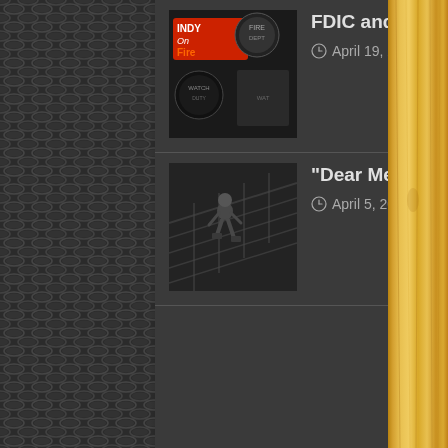[Figure (screenshot): Blog post listing with dark charcoal background, two post entries with thumbnails]
FDIC and my Indy On Fire Top Ten!
April 19, 2016
“Dear Me” … A letter to myself as a 21 year old Firefighter
April 5, 2016